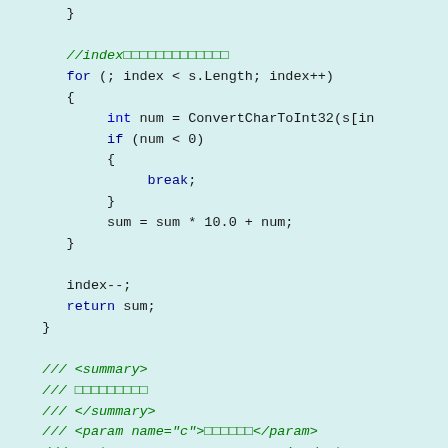Code snippet showing a C# method with a for loop, break statement, sum calculation, and XML documentation comments for ConvertCharToInt32